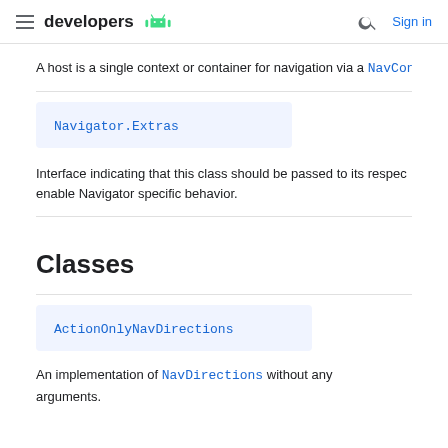developers [android logo] ... Sign in
A host is a single context or container for navigation via a NavCon
| Navigator.Extras |
| --- |
Interface indicating that this class should be passed to its respec enable Navigator specific behavior.
Classes
| ActionOnlyNavDirections |
| --- |
An implementation of NavDirections without any arguments.